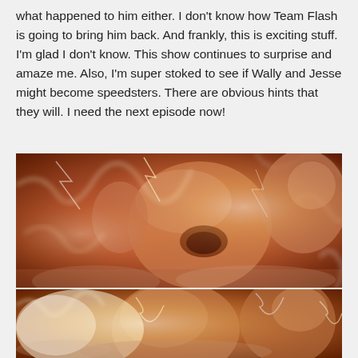what happened to him either. I don't know how Team Flash is going to bring him back. And frankly, this is exciting stuff. I'm glad I don't know. This show continues to surprise and amaze me. Also, I'm super stoked to see if Wally and Jesse might become speedsters. There are obvious hints that they will. I need the next episode now!
[Figure (photo): Close-up photo of two people surrounded by lightning and fire effects, appearing to be from a superhero TV show scene. The main figure is a man with his mouth open in an intense expression, with lightning effects surrounding him and another person visible in the background.]
[Figure (photo): Continuation of the same scene — lower portion showing another close-up of characters surrounded by bright white lightning and fire/smoke effects.]